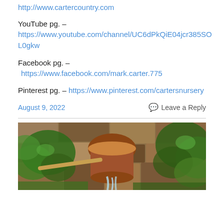http://www.cartercountry.com
YouTube pg. –
https://www.youtube.com/channel/UC6dPkQiE04jcr385SOL0gkw
Facebook pg. –
https://www.facebook.com/mark.carter.775
Pinterest pg. – https://www.pinterest.com/cartersnursery
August 9, 2022
Leave a Reply
[Figure (photo): Garden water feature with a large terracotta pot pouring water, surrounded by ivy and tropical plants on a stone wall background.]